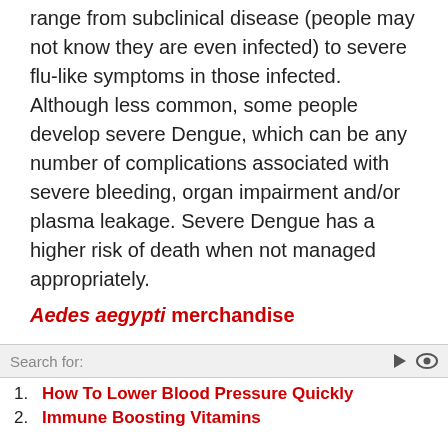range from subclinical disease (people may not know they are even infected) to severe flu-like symptoms in those infected. Although less common, some people develop severe Dengue, which can be any number of complications associated with severe bleeding, organ impairment and/or plasma leakage. Severe Dengue has a higher risk of death when not managed appropriately.
Aedes aegypti merchandise
Mad cow disease case reported on Somerset farm in England
Kroger kale recalled due to possible Listeria monocytogenes contamination
Search for: | 1. How To Lower Blood Pressure Quickly | 2. Immune Boosting Vitamins